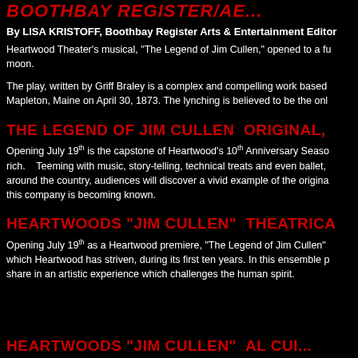BOOTHBAY REGISTER/AE...
By LISA KRISTOFF, Boothbay Register Arts & Entertainment Editor
Heartwood Theater's musical, "The Legend of Jim Cullen," opened to a fu moon.
The play, written by Griff Braley is a complex and compelling work based Mapleton, Maine on April 30, 1873. The lynching is believed to be the onl
THE LEGEND OF JIM CULLEN  ORIGINAL,
Opening July 19th is the capstone of Heartwood's 10th Anniversary Seaso rich.   Teeming with music, story-telling, technical treats and even ballet, around the country, audiences will discover a vivid example of the origina this company is becoming known.
HEARTWOODS "JIM CULLEN"  THEATRICA
Opening July 19th as a Heartwood premiere, "The Legend of Jim Cullen" which Heartwood has striven, during its first ten years. In this ensemble p share in an artistic experience which challenges the human spirit.
HEARTWOODS "JIM CULLEN"  AL CUI...